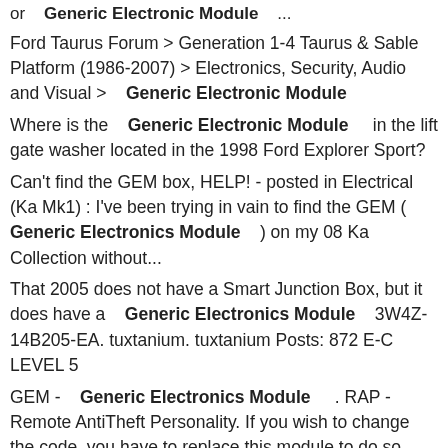or   Generic Electronic Module   ...
Ford Taurus Forum > Generation 1-4 Taurus & Sable Platform (1986-2007) > Electronics, Security, Audio and Visual >   Generic Electronic Module
Where is the   Generic Electronic Module   in the lift gate washer located in the 1998 Ford Explorer Sport?
Can't find the GEM box, HELP! - posted in Electrical (Ka Mk1) : I've been trying in vain to find the GEM (  Generic Electronics Module   ) on my 08 Ka Collection without...
That 2005 does not have a Smart Junction Box, but it does have a   Generic Electronics Module  3W4Z-14B205-EA. tuxtanium. tuxtanium Posts: 872 E-C LEVEL 5
GEM -   Generic Electronics Module   . RAP - Remote AntiTheft Personality. If you wish to change the code, you have to replace this module to do so. share | improve this...